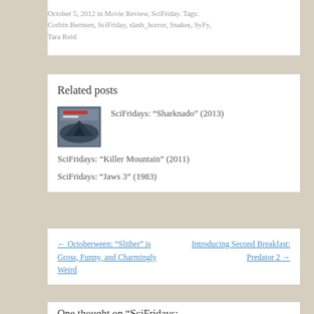October 5, 2012 in Movie Review, SciFriday. Tags: Corbin Bernsen, SciFriday, slash_horror, Snakes, SyFy, Tara Reid
Related posts
SciFridays: “Sharknado” (2013)
SciFridays: “Killer Mountain” (2011)
SciFridays: “Jaws 3” (1983)
← Octoberween: “Slither” is Gross, Funny, and Charmingly Weird
Introducing Second Breakfast: Predator 2 →
One thought on “SciFridays: